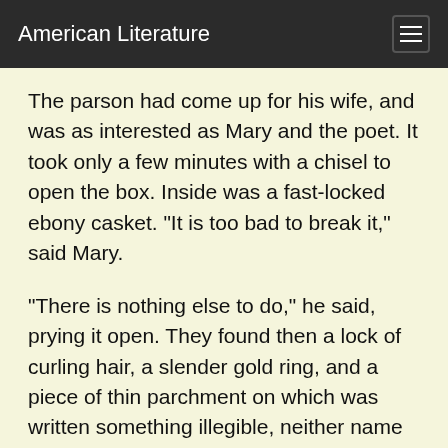American Literature
The parson had come up for his wife, and was as interested as Mary and the poet. It took only a few minutes with a chisel to open the box. Inside was a fast-locked ebony casket. "It is too bad to break it," said Mary.
"There is nothing else to do," he said, prying it open. They found then a lock of curling hair, a slender gold ring, and a piece of thin parchment on which was written something illegible, neither name nor place being decipherable, but yet which had an air of marriage lines.
"Now what does this mean?" asked the poet. "A